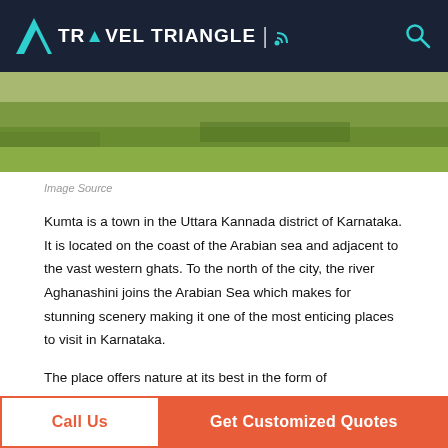TRAVEL TRIANGLE
[Figure (photo): Green landscape/field scene, partial view at top of page]
Image Source
Kumta is a town in the Uttara Kannada district of Karnataka. It is located on the coast of the Arabian sea and adjacent to the vast western ghats. To the north of the city, the river Aghanashini joins the Arabian Sea which makes for stunning scenery making it one of the most enticing places to visit in Karnataka.
The place offers nature at its best in the form of breathtaking beaches, beautiful black rocks, temples and boundless greenery. Kumta is the apt place for relaxing and unwinding in solitude or loved ones.
Call Us | Get Customized Quotes